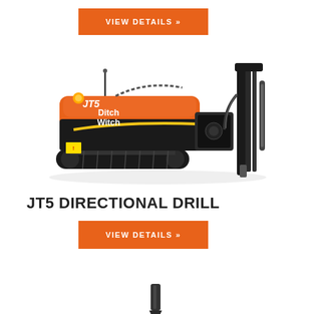[Figure (other): Orange VIEW DETAILS button at top of page]
[Figure (photo): Ditch Witch JT5 directional drill machine — orange and black tracked horizontal directional drilling unit with drill mast on right side]
JT5 DIRECTIONAL DRILL
[Figure (other): Orange VIEW DETAILS button below title]
[Figure (photo): Partial view of a drill bit at bottom of page]